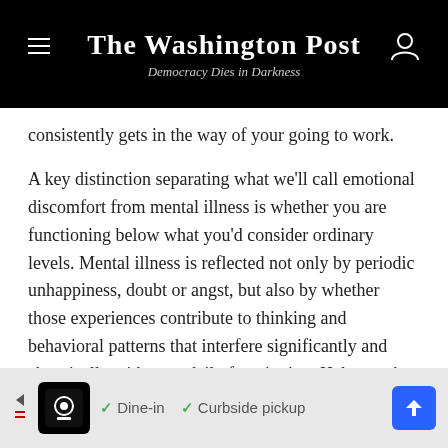The Washington Post — Democracy Dies in Darkness
consistently gets in the way of your going to work.
A key distinction separating what we'll call emotional discomfort from mental illness is whether you are functioning below what you'd consider ordinary levels. Mental illness is reflected not only by periodic unhappiness, doubt or angst, but also by whether those experiences contribute to thinking and behavioral patterns that interfere significantly and chronically with your daily functioning. Helpers who treat mental illness fall squarely into the therapist camp.
[Figure (other): Advertisement banner showing a restaurant logo with Dine-in and Curbside pickup options, with navigation arrows.]